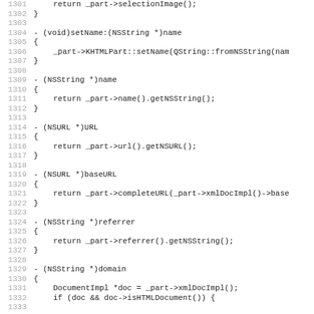[Figure (screenshot): Source code listing in monospace font with line numbers 1301-1332+, showing Objective-C/C++ method implementations including setName, name, URL, baseURL, referrer, and domain methods.]